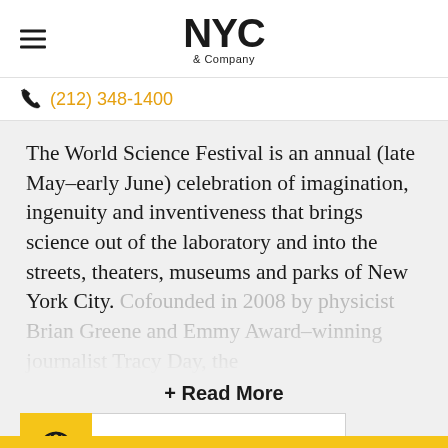NYC & Company
(212) 348-1400
The World Science Festival is an annual (late May–early June) celebration of imagination, ingenuity and inventiveness that brings science out of the laboratory and into the streets, theaters, museums and parks of New York City. Cofounded in 2008 by physicist Brian Greene and Emmy Award–winning journalist Tracy Day, the
+ Read More
[Figure (illustration): Website button with globe icon on yellow background]
[Figure (illustration): Share button with share icon on yellow background]